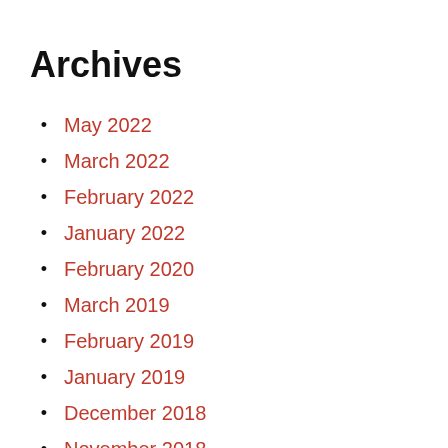Archives
May 2022
March 2022
February 2022
January 2022
February 2020
March 2019
February 2019
January 2019
December 2018
November 2018
October 2018
September 2018